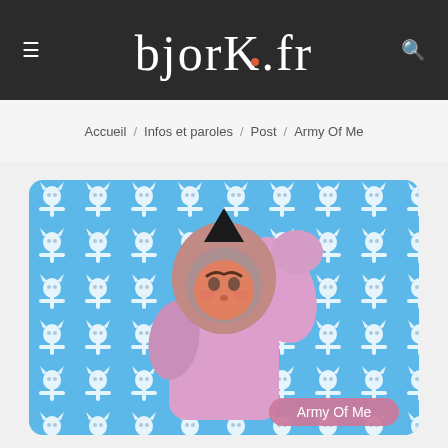bjork.fr
Accueil / Infos et paroles / Post / Army Of Me
[Figure (illustration): Album cover illustration for 'Army Of Me' by Bjork. A cartoon-like pink robot/doll figure with a black pointed helmet and angry expression raises its fist against a blue background covered in repeating skull-and-crossbones white cat patterns. A pink rounded label reads 'Army Of Me' in white text in the bottom right.]